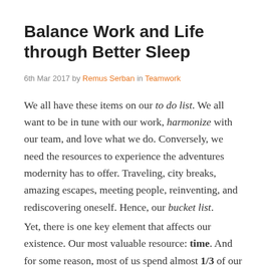Balance Work and Life through Better Sleep
6th Mar 2017 by Remus Serban in Teamwork
We all have these items on our to do list. We all want to be in tune with our work, harmonize with our team, and love what we do. Conversely, we need the resources to experience the adventures modernity has to offer. Traveling, city breaks, amazing escapes, meeting people, reinventing, and rediscovering oneself. Hence, our bucket list.
Yet, there is one key element that affects our existence. Our most valuable resource: time. And for some reason, most of us spend almost 1/3 of our lives